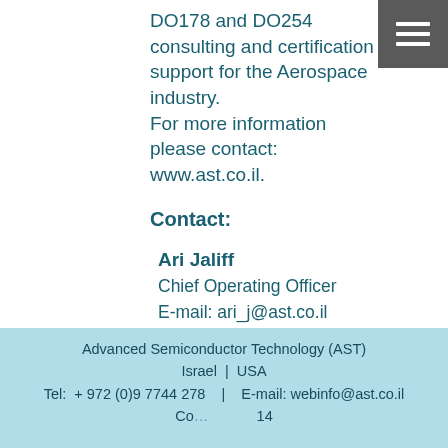DO178 and DO254 consulting and certification support for the Aerospace industry. For more information please contact: www.ast.co.il.
Contact:
Ari Jaliff
Chief Operating Officer
E-mail: ari_j@ast.co.il
Phone: 972-9-7744278
Cellular: 972-54-5496219
Fax: 972-9-7744499
Advanced Semiconductor Technology (AST)
Israel | USA
Tel: +972 (0)9 7744 278   |   E-mail: webinfo@ast.co.il
Co...14